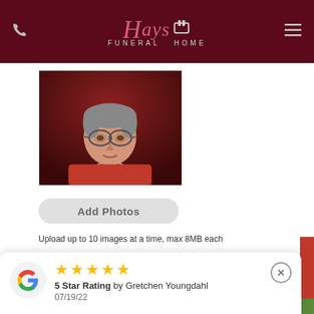[Figure (logo): Hays Funeral Home logo with phone icon on left and hamburger menu icon on right, dark maroon header background]
[Figure (photo): Portrait photo of an elderly woman wearing glasses, red clothing, and a necklace, against a dark red background]
Add Photos
Upload up to 10 images at a time, max 8MB each
5 Star Rating by Gretchen Youngdahl
07/19/22